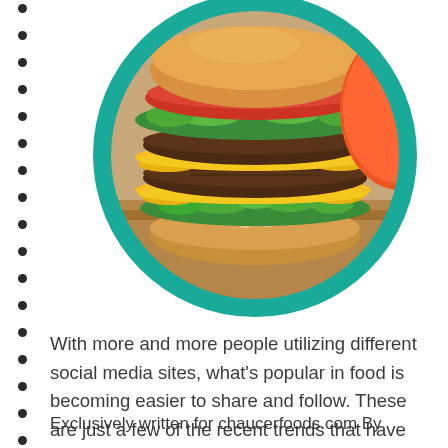[Figure (photo): A large cheeseburger with double patties, melted yellow cheese, lettuce, and tomato on a bun, presented in a circular frame with a teal/turquoise border, on a wooden surface. To the left is a vertical column of bullet dots.]
With more and more people utilizing different social media sites, what’s popular in food is becoming easier to share and follow. These are just a few of the recent trends that have surfaced thanks to platforms like Instagram, YouTube, and Facebook.
Exclusively written for chaucerfoods.com By